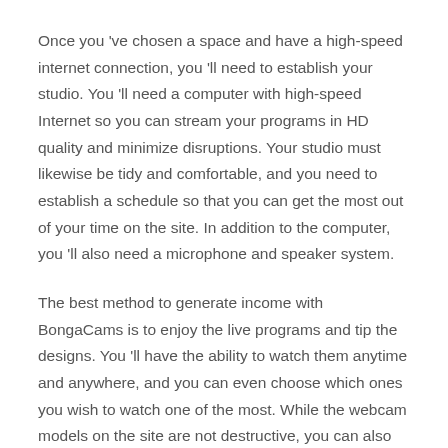Once you 've chosen a space and have a high-speed internet connection, you 'll need to establish your studio. You 'll need a computer with high-speed Internet so you can stream your programs in HD quality and minimize disruptions. Your studio must likewise be tidy and comfortable, and you need to establish a schedule so that you can get the most out of your time on the site. In addition to the computer, you 'll also need a microphone and speaker system.
The best method to generate income with BongaCams is to enjoy the live programs and tip the designs. You 'll have the ability to watch them anytime and anywhere, and you can even choose which ones you wish to watch one of the most. While the webcam models on the site are not destructive, you can also squander their profits through numerous techniques, such as Wire, Check, and ACH. It 's an excellent place to make money as a model!